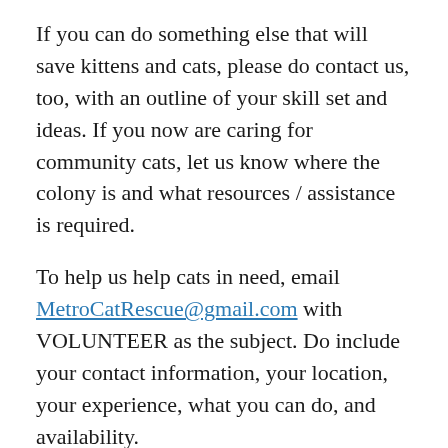If you can do something else that will save kittens and cats, please do contact us, too, with an outline of your skill set and ideas. If you now are caring for community cats, let us know where the colony is and what resources / assistance is required.
To help us help cats in need, email MetroCatRescue@gmail.com with VOLUNTEER as the subject. Do include your contact information, your location, your experience, what you can do, and availability.
– – –
Metro Cat Rescue coordinates the volunteer care of many outdoor cats in a number of colonies. We're working hard to bring some